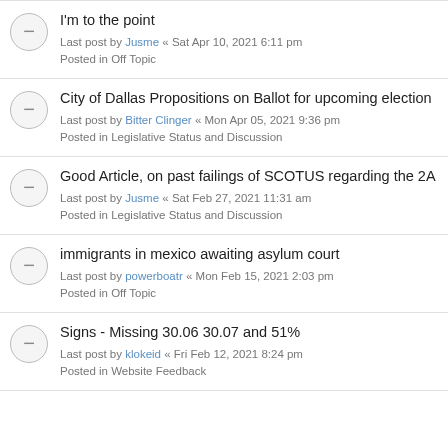I'm to the point
Last post by Jusme « Sat Apr 10, 2021 6:11 pm
Posted in Off Topic
City of Dallas Propositions on Ballot for upcoming election
Last post by Bitter Clinger « Mon Apr 05, 2021 9:36 pm
Posted in Legislative Status and Discussion
Good Article, on past failings of SCOTUS regarding the 2A
Last post by Jusme « Sat Feb 27, 2021 11:31 am
Posted in Legislative Status and Discussion
immigrants in mexico awaiting asylum court
Last post by powerboatr « Mon Feb 15, 2021 2:03 pm
Posted in Off Topic
Signs - Missing 30.06 30.07 and 51%
Last post by klokeid « Fri Feb 12, 2021 8:24 pm
Posted in Website Feedback